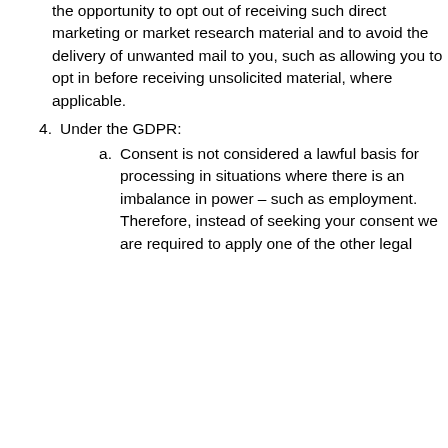the opportunity to opt out of receiving such direct marketing or market research material and to avoid the delivery of unwanted mail to you, such as allowing you to opt in before receiving unsolicited material, where applicable.
4. Under the GDPR:
a. Consent is not considered a lawful basis for processing in situations where there is an imbalance in power – such as employment. Therefore, instead of seeking your consent we are required to apply one of the other legal